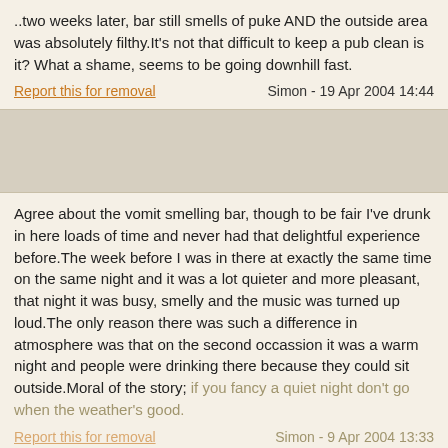..two weeks later, bar still smells of puke AND the outside area was absolutely filthy.It's not that difficult to keep a pub clean is it? What a shame, seems to be going downhill fast.
Report this for removal    Simon - 19 Apr 2004 14:44
Agree about the vomit smelling bar, though to be fair I've drunk in here loads of time and never had that delightful experience before.The week before I was in there at exactly the same time on the same night and it was a lot quieter and more pleasant, that night it was busy, smelly and the music was turned up loud.The only reason there was such a difference in atmosphere was that on the second occassion it was a warm night and people were drinking there because they could sit outside.Moral of the story; if you fancy a quiet night don't go when the weather's good.
Report this for removal    Simon - 9 Apr 2004 13:33